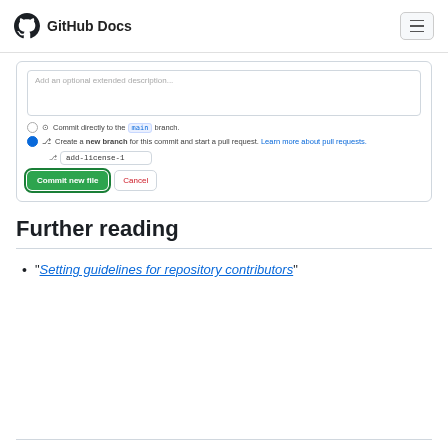GitHub Docs
[Figure (screenshot): GitHub commit form screenshot showing a textarea with placeholder 'Add an optional extended description...', radio buttons for 'Commit directly to the main branch' and 'Create a new branch for this commit and start a pull request. Learn more about pull requests.' with branch name input 'add-license-1', and buttons 'Commit new file' and 'Cancel'.]
Further reading
"Setting guidelines for repository contributors"